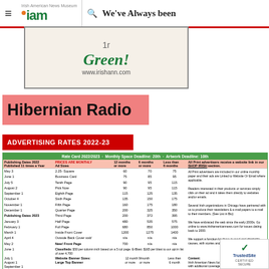≡  Irish American News Museum  🔍  We've Always been Green!  www.irishann.com
[Figure (illustration): Irish Ann advertisement banner showing a figure and 'We've Always been Green!' text with www.irishann.com URL]
[Figure (logo): Hibernian Radio pink banner logo]
ADVERTISING RATES 2022-23
| Publishing Dates 2022 / Publishing Dates 2023 | PRICES ARE MONTHLY / Ad Sizes | 12 months or more | 6 months or more | Less than 6 months | All Print advertisers... |
| --- | --- | --- | --- | --- | --- |
| May 3 | 2.25- Square | 60 | 70 | 75 | All Print advertisers receive a website link in our SHOP IRISH section. |
| June 1 | Business Card | 75 | 85 | 95 |  |
| July 5 | Tenth Page | 90 | 95 | 115 |  |
| August 2 | Pick Now | 90 | 95 | 115 |  |
| September 1 | Eighth Page | 115 | 125 | 135 |  |
| October 4 | Sixth Page | 135 | 150 | 175 |  |
| November 1 | Fifth Page | 160 | 175 | 180 |  |
| December 1 | Quarter Page | 200 | 325 | 350 |  |
| Publishing Dates 2023 | Third Page | 200 | 372 | 395 |  |
| January 3 | Half Page | 480 | 535 | 575 |  |
| February 1 | Full Page | 680 | 850 | 1000 |  |
| March 1 | Inside Front Cover | 1200 | 1275 | 1400 |  |
| April 4 | Outside Back Cover sold | n/a | n/a | n/a |  |
| May 2 | New! Front Page | 700 | n/a | n/a |  |
| June 1 | Classifieds: $50 per column inch based on a 5 col page. E-Blast: $165 per blast to our opt in list of over 4,700 |  |  |  |  |
| July 1 | Website Banner Sizes: Large Top Banner | 12 month 9/month or more | Less than or more / 6 month |  |  |
| August 1 |  | 150 | 175 | 200 |  |
| September 1 |  |  |  |  |  |
| October 5 |  |  |  |  |  |
| November 1 |  |  |  |  |  |
| December 1 |  |  |  |  |  |
[Figure (photo): TrustedSite Certified Secure badge with checkmark logo and photo of people]